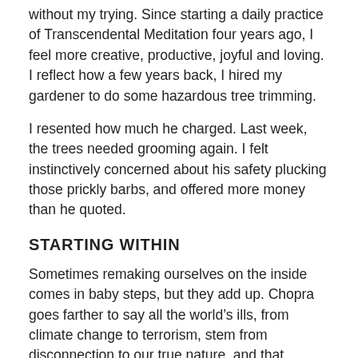without my trying. Since starting a daily practice of Transcendental Meditation four years ago, I feel more creative, productive, joyful and loving. I reflect how a few years back, I hired my gardener to do some hazardous tree trimming.
I resented how much he charged. Last week, the trees needed grooming again. I felt instinctively concerned about his safety plucking those prickly barbs, and offered more money than he quoted.
STARTING WITHIN
Sometimes remaking ourselves on the inside comes in baby steps, but they add up. Chopra goes farther to say all the world’s ills, from climate change to terrorism, stem from disconnection to our true nature, and that meditation is the pathway home.